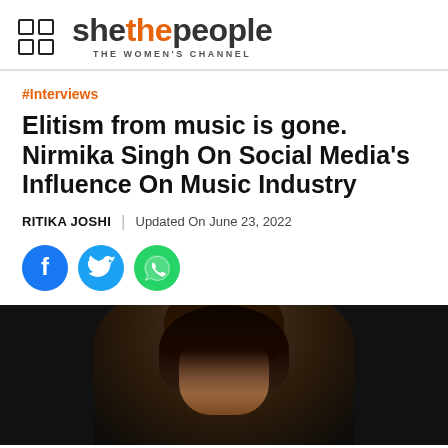shethepeople THE WOMEN'S CHANNEL
#Interviews
Elitism from music is gone. Nirmika Singh On Social Media's Influence On Music Industry
RITIKA JOSHI | Updated On June 23, 2022
[Figure (illustration): Social media sharing icons: Facebook (blue circle with f), Twitter (light blue circle with bird), WhatsApp (green circle with phone handset)]
[Figure (photo): Photo of a woman (Nirmika Singh) against a dark background, showing head and upper body, dark hair]